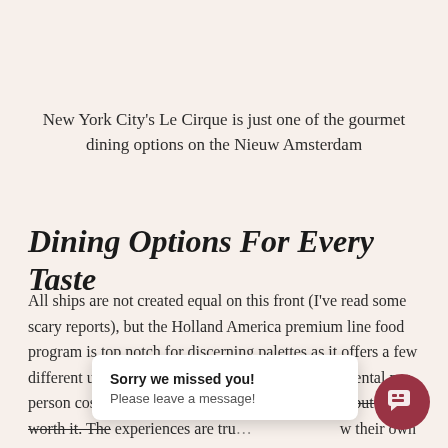New York City's Le Cirque is just one of the gourmet dining options on the Nieuw Amsterdam
Dining Options For Every Taste
All ships are not created equal on this front (I've read some scary reports), but the Holland America premium line food program is top notch for discerning palettes as it offers a few different upscale dining outlets. You pay an incremental per person cost ($10 to $25 per person) to eat at them, but it's worth it. The experiences are tru… w their own flavors, st…